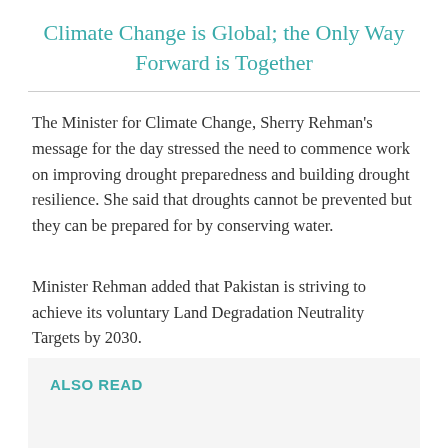Climate Change is Global; the Only Way Forward is Together
The Minister for Climate Change, Sherry Rehman's message for the day stressed the need to commence work on improving drought preparedness and building drought resilience. She said that droughts cannot be prevented but they can be prepared for by conserving water.
Minister Rehman added that Pakistan is striving to achieve its voluntary Land Degradation Neutrality Targets by 2030.
ALSO READ